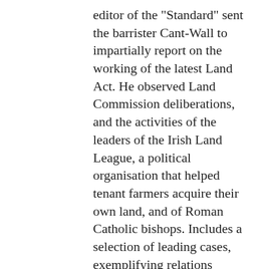editor of the "Standard" sent the barrister Cant-Wall to impartially report on the working of the latest Land Act. He observed Land Commission deliberations, and the activities of the leaders of the Irish Land League, a political organisation that helped tenant farmers acquire their own land, and of Roman Catholic bishops. Includes a selection of leading cases, exemplifying relations between landlord and tenant. (Plus 32p publisher's catalogue at rear. Bookplate of Lord Walter Fitzgerald.). Our Book No: 14466. $30 AUD.
58. Carnegie, Margaret; Boldrewood, Rolf (1993). Pacific Gold: California 1848